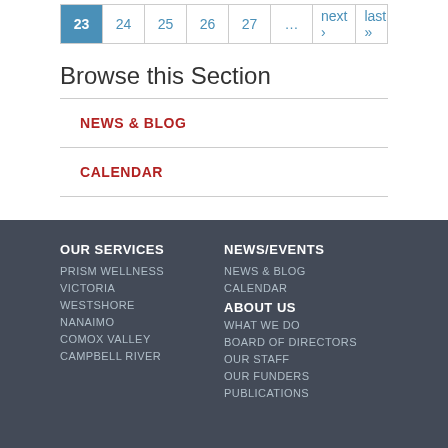Pagination: 23 (active), 24, 25, 26, 27, ..., next ›, last »
Browse this Section
NEWS & BLOG
CALENDAR
OUR SERVICES | PRISM WELLNESS | VICTORIA | WESTSHORE | NANAIMO | COMOX VALLEY | CAMPBELL RIVER | NEWS/EVENTS | NEWS & BLOG | CALENDAR | ABOUT US | WHAT WE DO | BOARD OF DIRECTORS | OUR STAFF | OUR FUNDERS | PUBLICATIONS